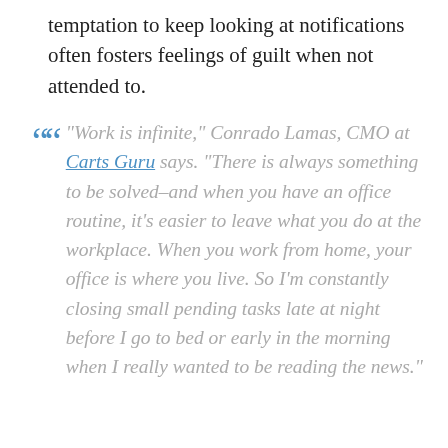temptation to keep looking at notifications often fosters feelings of guilt when not attended to.
“Work is infinite,” Conrado Lamas, CMO at Carts Guru says. “There is always something to be solved–and when you have an office routine, it’s easier to leave what you do at the workplace. When you work from home, your office is where you live. So I’m constantly closing small pending tasks late at night before I go to bed or early in the morning when I really wanted to be reading the news.”